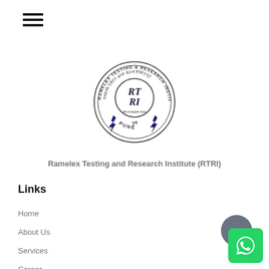[Figure (logo): Ramelex Testing and Research Institute (RTRI) circular seal logo with RTRI letters in center, lightning bolts, and text in English and Hindi, PUNE written at bottom]
Ramelex Testing and Research Institute (RTRI)
Links
Home
About Us
Services
Career